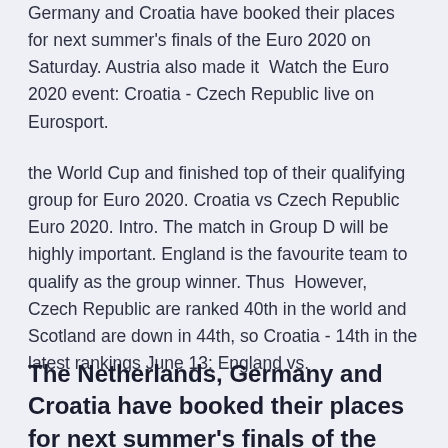Germany and Croatia have booked their places for next summer's finals of the Euro 2020 on Saturday. Austria also made it  Watch the Euro 2020 event: Croatia - Czech Republic live on Eurosport.
the World Cup and finished top of their qualifying group for Euro 2020. Croatia vs Czech Republic Euro 2020. Intro. The match in Group D will be highly important. England is the favourite team to qualify as the group winner. Thus  However, Czech Republic are ranked 40th in the world and Scotland are down in 44th, so Croatia - 14th in the latest rankings June 13: England vs.
The Netherlands, Germany and Croatia have booked their places for next summer's finals of the